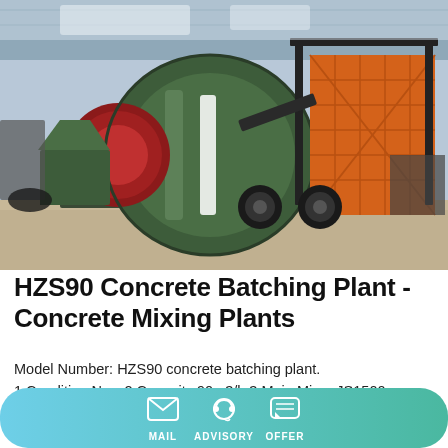[Figure (photo): HZS90 Concrete Batching Plant mobile unit mounted on a trailer with large green drum mixer and orange aggregate hopper, photographed inside an industrial warehouse facility.]
HZS90 Concrete Batching Plant - Concrete Mixing Plants
Model Number: HZS90 concrete batching plant.
1,Condition:New 2,Capacity:90m3/h 3,Main Mixer:JS1500
4,Power of Main Mixer:44kw 5,Feeding Mode:Belt conveyor
6,Mixing Time:60s 7,Max Aggregate Size:60/80mm
MAIL   ADVISORY   OFFER